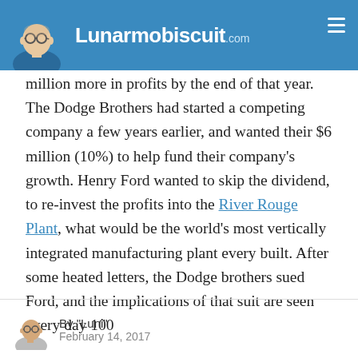Lunarmobiscuit.com
million more in profits by the end of that year. The Dodge Brothers had started a competing company a few years earlier, and wanted their $6 million (10%) to help fund their company's growth. Henry Ford wanted to skip the dividend, to re-invest the profits into the River Rouge Plant, what would be the world's most vertically integrated manufacturing plant every built. After some heated letters, the Dodge brothers sued Ford, and the implications of that suit are seen every day 100
By "Luni" February 14, 2017